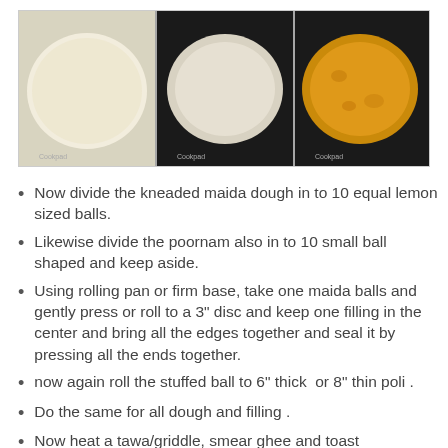[Figure (photo): Three stages of poli/paratha flatbread: uncooked white dough on light background (left), dough on dark tawa/griddle (center), and cooked golden-brown poli on dark background (right).]
Now divide the kneaded maida dough in to 10 equal lemon sized balls.
Likewise divide the poornam also in to 10 small ball shaped and keep aside.
Using rolling pan or firm base, take one maida balls and gently press or roll to a 3" disc and keep one filling in the center and bring all the edges together and seal it by pressing all the ends together.
now again roll the stuffed ball to 6" thick  or 8" thin poli .
Do the same for all dough and filling .
Now heat a tawa/griddle, smear ghee and toast